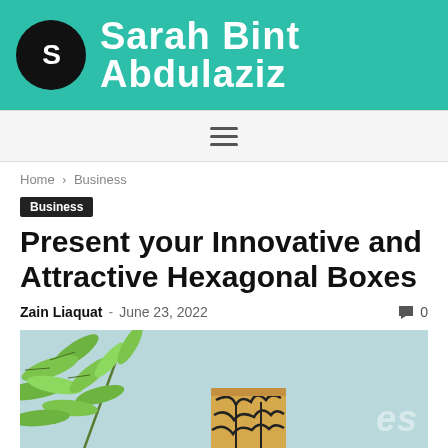Sarah Bint Abdulaziz
☰
Home › Business
Business
Present your Innovative and Attractive Hexagonal Boxes
Zain Liaquat - June 23, 2022  🗨 0
[Figure (photo): Featured image showing green tropical leaves on a light blue/teal background with a patterned hexagonal box partially visible at the bottom center, and a faint watermark 'es' in the bottom right.]